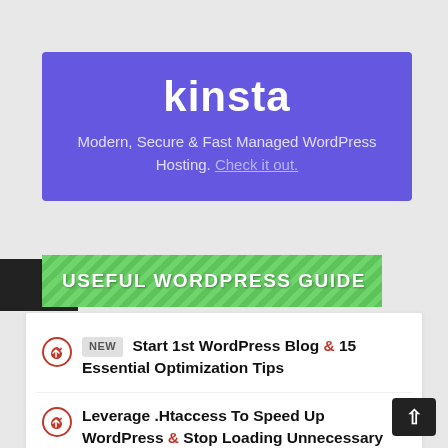[Figure (logo): Kinsta logo and tagline banner with purple background. Text: 'kinsta' in white bold, 'Modern, Secure & Fast Managed WordPress Hosting. Check it out.']
USEFUL WORDPRESS GUIDE
NEW  Start 1st WordPress Blog & 15 Essential Optimization Tips
Leverage .Htaccess To Speed Up WordPress & Stop Loading Unnecessary Files On Site
Top 5 Basic SEO Tips & Importance Of Keyword Research